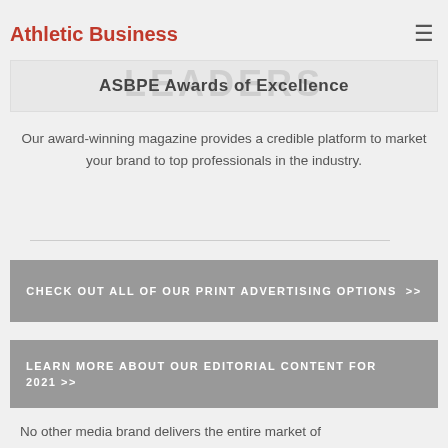Athletic Business
[Figure (illustration): Banner image with watermark text and 'ASBPE Awards of Excellence' title on grey background]
Our award-winning magazine provides a credible platform to market your brand to top professionals in the industry.
CHECK OUT ALL OF OUR PRINT ADVERTISING OPTIONS >>
LEARN MORE ABOUT OUR EDITORIAL CONTENT FOR 2021 >>
No other media brand delivers the entire market of